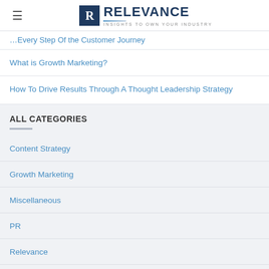RELEVANCE — INSIGHTS TO OWN YOUR INDUSTRY
…of the Customer Journey
What is Growth Marketing?
How To Drive Results Through A Thought Leadership Strategy
ALL CATEGORIES
Content Strategy
Growth Marketing
Miscellaneous
PR
Relevance